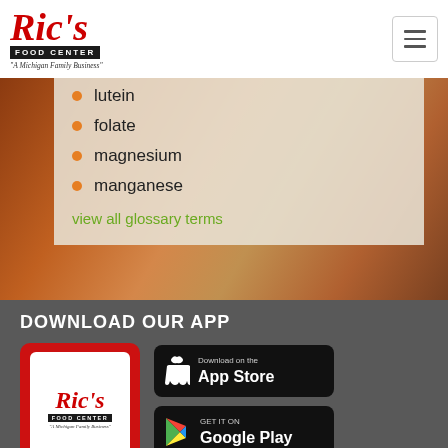Ric's Food Center - A Michigan Family Business
lutein
folate
magnesium
manganese
view all glossary terms
DOWNLOAD OUR APP
[Figure (logo): Ric's Food Center logo on red background - app icon]
[Figure (screenshot): Download on the App Store button]
[Figure (screenshot): GET IT ON Google Play button]